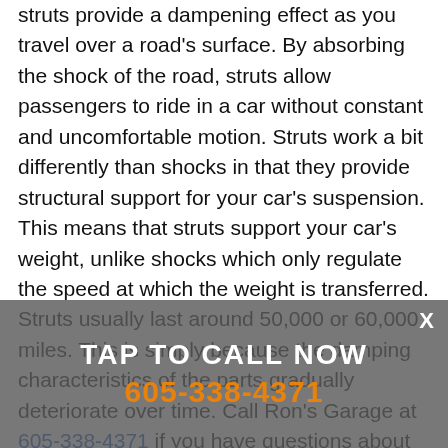struts provide a dampening effect as you travel over a road's surface. By absorbing the shock of the road, struts allow passengers to ride in a car without constant and uncomfortable motion. Struts work a bit differently than shocks in that they provide structural support for your car's suspension. This means that struts support your car's weight, unlike shocks which only regulate the speed at which the weight is transferred. Struts usually last around 50,000 or 60,000 miles. This is simply because the damping characteristics of the parts gradually deteriorate over time. Call Ron's Garage at 605-338-4371 if you have questions about the struts on your car. Our expert staff will diagnose any problems and help you make an informed decision about repairs.
[Figure (other): Semi-transparent grey overlay banner with white bold text 'TAP TO CALL NOW' and orange phone number '605-338-4371', with a white X close button in the top right corner.]